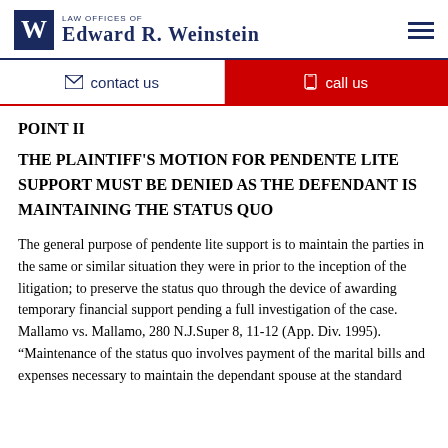Law Offices of Edward R. Weinstein
contact us | call us
POINT II
THE PLAINTIFF'S MOTION FOR PENDENTE LITE SUPPORT MUST BE DENIED AS THE DEFENDANT IS MAINTAINING THE STATUS QUO
The general purpose of pendente lite support is to maintain the parties in the same or similar situation they were in prior to the inception of the litigation; to preserve the status quo through the device of awarding temporary financial support pending a full investigation of the case.  Mallamo vs. Mallamo, 280 N.J.Super 8, 11-12 (App. Div. 1995).  “Maintenance of the status quo involves payment of the marital bills and expenses necessary to maintain the dependant spouse at the standard